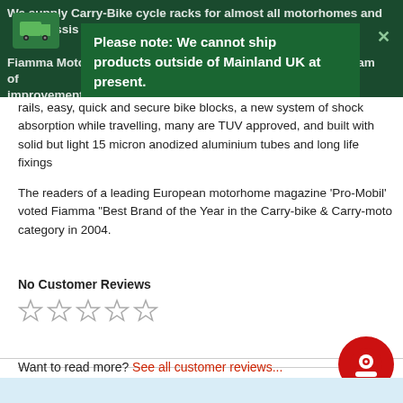We supply Carry-Bike cycle racks for almost all motorhomes and chassis or Fiamma Motorhome cycle racks undergo a continuous program of improvement the latest models have double reinforced bike carrier rails, easy, quick and secure bike blocks, a new system of shock absorption while travelling, many are TUV approved, and built with solid but light 15 micron anodized aluminium tubes and long life fixings
Please note: We cannot ship products outside of Mainland UK at present.
The readers of a leading European motorhome magazine 'Pro-Mobil' voted Fiamma "Best Brand of the Year in the Carry-bike & Carry-moto category in 2004.
No Customer Reviews
Want to read more? See all customer reviews...